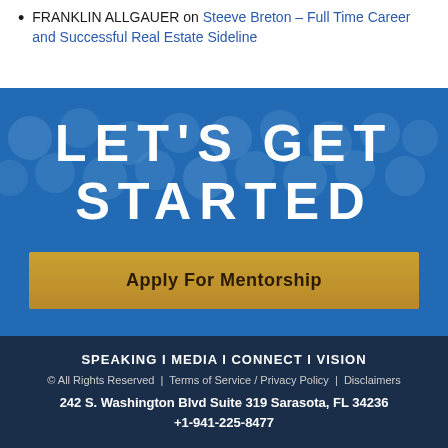FRANKLIN ALLGAUER on Steeve Breton – Full Time Career and Successful Real Estate Sideline
[Figure (infographic): Blue banner with crowd background showing 'LET'S GET STARTED' in large white bold letterspaced text and a gold 'Apply For Mentorship' button below]
SPEAKING I MEDIA I CONNECT I VISION
© All Rights Reserved | Terms of Service / Privacy Policy | Disclaimers
242 S. Washington Blvd Suite 319 Sarasota, FL 34236 +1-941-225-8477